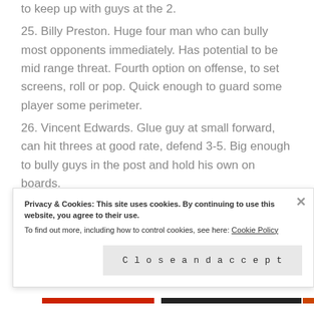to keep up with guys at the 2.
25. Billy Preston. Huge four man who can bully most opponents immediately. Has potential to be mid range threat. Fourth option on offense, to set screens, roll or pop. Quick enough to guard some player some perimeter.
26. Vincent Edwards. Glue guy at small forward, can hit threes at good rate, defend 3-5. Big enough to bully guys in the post and hold his own on boards.
Privacy & Cookies: This site uses cookies. By continuing to use this website, you agree to their use. To find out more, including how to control cookies, see here: Cookie Policy